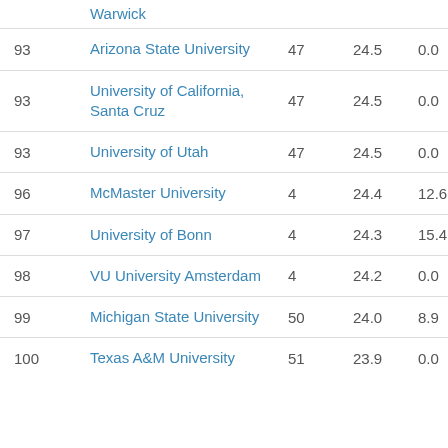| Rank | University | N | Score | % |
| --- | --- | --- | --- | --- |
|  | Warwick |  |  |  |
| 93 | Arizona State University | 47 | 24.5 | 0.0 |
| 93 | University of California, Santa Cruz | 47 | 24.5 | 0.0 |
| 93 | University of Utah | 47 | 24.5 | 0.0 |
| 96 | McMaster University | 4 | 24.4 | 12.6 |
| 97 | University of Bonn | 4 | 24.3 | 15.4 |
| 98 | VU University Amsterdam | 4 | 24.2 | 0.0 |
| 99 | Michigan State University | 50 | 24.0 | 8.9 |
| 100 | Texas A&M University | 51 | 23.9 | 0.0 |